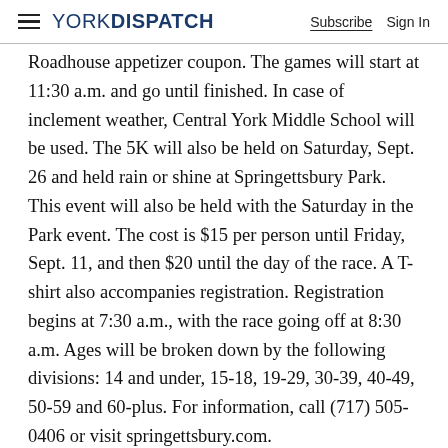YORK DISPATCH  Subscribe  Sign In
Roadhouse appetizer coupon. The games will start at 11:30 a.m. and go until finished. In case of inclement weather, Central York Middle School will be used. The 5K will also be held on Saturday, Sept. 26 and held rain or shine at Springettsbury Park. This event will also be held with the Saturday in the Park event. The cost is $15 per person until Friday, Sept. 11, and then $20 until the day of the race. A T-shirt also accompanies registration. Registration begins at 7:30 a.m., with the race going off at 8:30 a.m. Ages will be broken down by the following divisions: 14 and under, 15-18, 19-29, 30-39, 40-49, 50-59 and 60-plus. For information, call (717) 505-0406 or visit springettsbury.com.